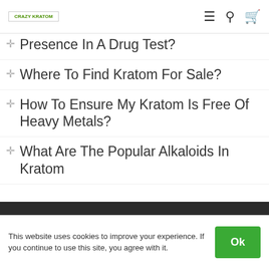Crazy Kratom [logo] | menu | search | cart
Presence In A Drug Test?
Where To Find Kratom For Sale?
How To Ensure My Kratom Is Free Of Heavy Metals?
What Are The Popular Alkaloids In Kratom
This website uses cookies to improve your experience. If you continue to use this site, you agree with it.